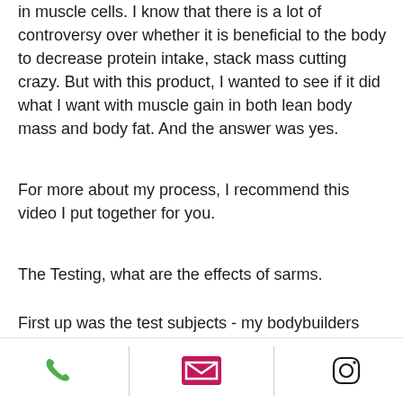in muscle cells. I know that there is a lot of controversy over whether it is beneficial to the body to decrease protein intake, stack mass cutting crazy. But with this product, I wanted to see if it did what I want with muscle gain in both lean body mass and body fat. And the answer was yes.
For more about my process, I recommend this video I put together for you.
The Testing, what are the effects of sarms.
First up was the test subjects - my bodybuilders and guys, trenorol nz0. My methodology is pretty simple - I'm going to test this product in multiple different ways and then summarize and grade them all out on the basis of my overall evaluation, trenorol nz1. If anything's wrong, I can be so
[Figure (other): Footer bar with three icons: green phone icon, pink/magenta email envelope icon, and Instagram icon (camera outline), separated by vertical dividers]